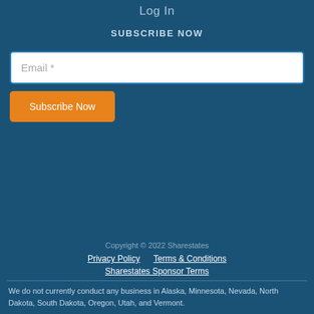Log In
SUBSCRIBE NOW
Email *
Subscribe Now
Copyright © 2022 Sharestates
Privacy Policy     Terms & Conditions Sharestates Sponsor Terms
We do not currently conduct any business in Alaska, Minnesota, Nevada, North Dakota, South Dakota, Oregon, Utah, and Vermont.